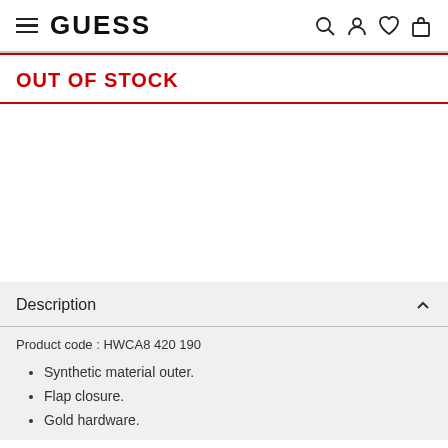GUESS
OUT OF STOCK
Description
Product code: HWCA8 420 190
Synthetic material outer.
Flap closure.
Gold hardware.